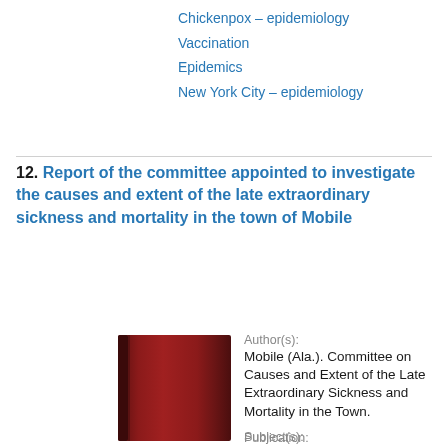Chickenpox – epidemiology
Vaccination
Epidemics
New York City – epidemiology
12. Report of the committee appointed to investigate the causes and extent of the late extraordinary sickness and mortality in the town of Mobile
[Figure (photo): Red/dark-maroon book cover thumbnail]
Author(s):
Mobile (Ala.). Committee on Causes and Extent of the Late Extraordinary Sickness and Mortality in the Town.
Publication:
Philadelphia : Published by S. Potter and Co. ..., 1820
Subject(s):